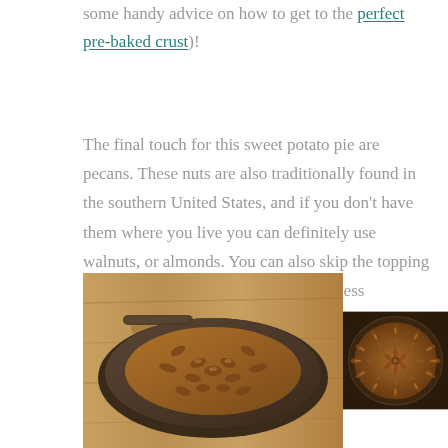some handy advice on how to get to the perfect pre-baked crust)!
The final touch for this sweet potato pie are pecans. These nuts are also traditionally found in the southern United States, and if you don't have them where you live you can definitely use walnuts, or almonds. You can also skip the topping altogether – the pie will not taste any less awesome!!!
[Figure (photo): Two side-by-side photos of sweet potato pies with pecan topping in dark pie tins. Left photo shows a pie on a wooden surface viewed from above at an angle; right photo shows a pie decorated with pecans arranged in a circular flower pattern.]